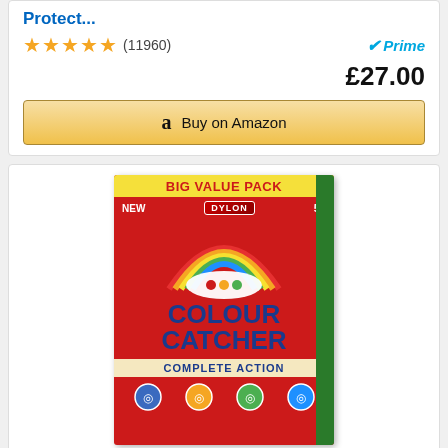Protect...
★★★★★ (11960)
Prime
£27.00
Buy on Amazon
[Figure (photo): Dylon Colour Catcher Complete Action Big Value Pack box with 50 sheets, red packaging with rainbow and white sheet graphic]
Colour Catcher Complete Action+ Laundry